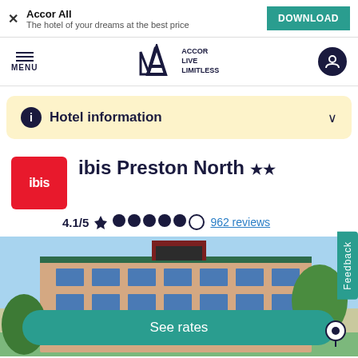Accor All – The hotel of your dreams at the best price – DOWNLOAD
[Figure (logo): Accor ALL – ACCOR LIVE LIMITLESS logo with navigation menu and user account icon]
Hotel information ∨
ibis Preston North ★★
4.1/5  ●●●●●○  962 reviews
[Figure (photo): Exterior photo of ibis Preston North hotel building showing multi-storey building with brick facade and green trees]
See rates
Feedback